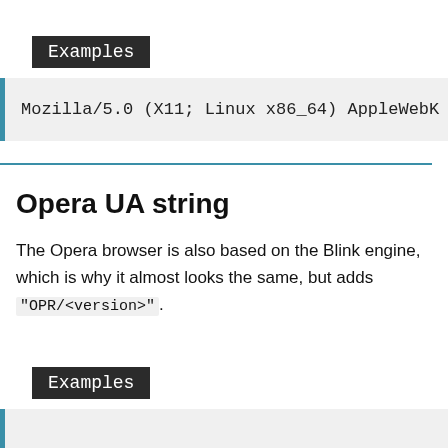Examples
Mozilla/5.0 (X11; Linux x86_64) AppleWebK
Opera UA string
The Opera browser is also based on the Blink engine, which is why it almost looks the same, but adds "OPR/<version>".
Examples